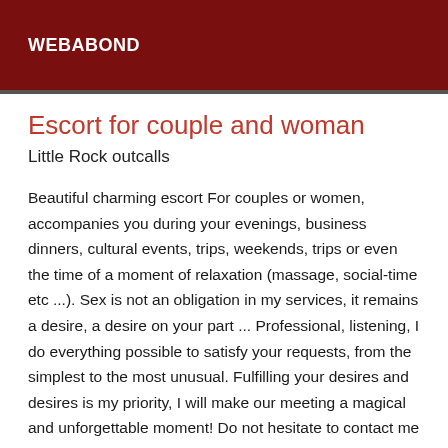WEBABOND
Escort for couple and woman
Little Rock outcalls
Beautiful charming escort For couples or women, accompanies you during your evenings, business dinners, cultural events, trips, weekends, trips or even the time of a moment of relaxation (massage, social-time etc ...). Sex is not an obligation in my services, it remains a desire, a desire on your part ... Professional, listening, I do everything possible to satisfy your requests, from the simplest to the most unusual. Fulfilling your desires and desires is my priority, I will make our meeting a magical and unforgettable moment! Do not hesitate to contact me by phone or by message for any information....kiss I can also be accompanied by a friend escort if necessary ... In Little Rock but I can also travel all over USA by invitation. I look forward to meeting...